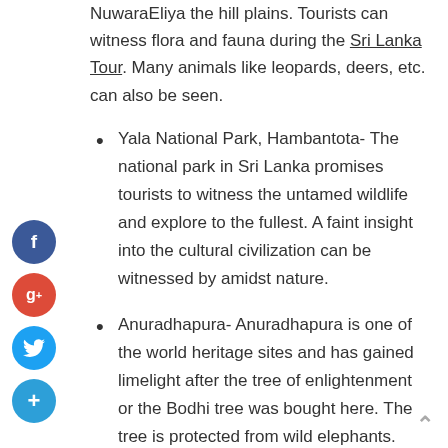NuwaraEliya the hill plains. Tourists can witness flora and fauna during the Sri Lanka Tour. Many animals like leopards, deers, etc. can also be seen.
Yala National Park, Hambantota- The national park in Sri Lanka promises tourists to witness the untamed wildlife and explore to the fullest. A faint insight into the cultural civilization can be witnessed by amidst nature.
Anuradhapura- Anuradhapura is one of the world heritage sites and has gained limelight after the tree of enlightenment or the Bodhi tree was bought here. The tree is protected from wild elephants.
Bentota beach- Experience a relaxing gateway at